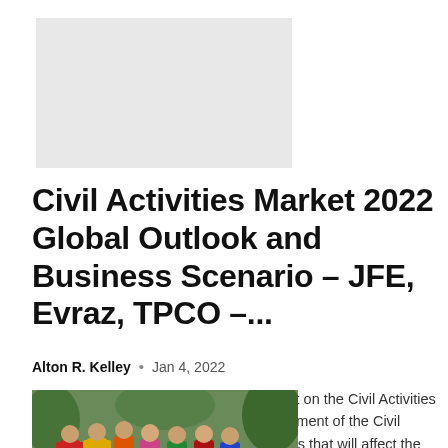[Figure (photo): Light gray placeholder image rectangle at top left]
Civil Activities Market 2022 Global Outlook and Business Scenario – JFE, Evraz, TPCO –...
Alton R. Kelley  •  Jan 4, 2022
The most recent Statistical Survey Report on the Civil Activities Market involves a comprehensive assessment of the Civil Activities industry, presenting the variables that will affect the earnings of the business during the course of...
[Figure (photo): Photo of a group of women in colorful traditional Indian saris outdoors]